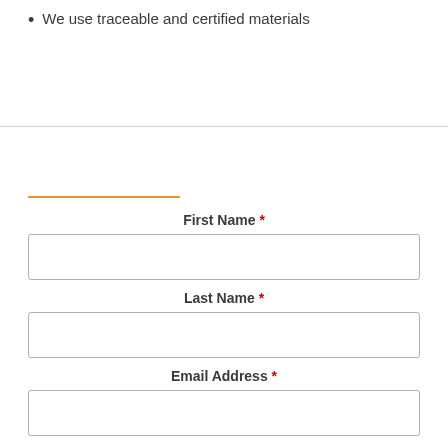We use traceable and certified materials
First Name *
Last Name *
Email Address *